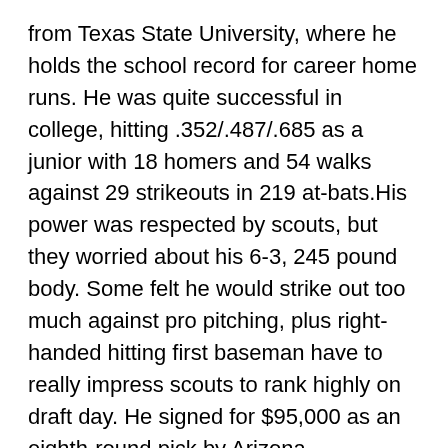from Texas State University, where he holds the school record for career home runs. He was quite successful in college, hitting .352/.487/.685 as a junior with 18 homers and 54 walks against 29 strikeouts in 219 at-bats.His power was respected by scouts, but they worried about his 6-3, 245 pound body. Some felt he would strike out too much against pro pitching, plus right-handed hitting first baseman have to really impress scouts to rank highly on draft day. He signed for $95,000 as an eighth-round pick by Arizona.
He murdered pitching in the Pioneer League (.334/.408/.638), but skeptics pointed out that the Pioneer League is a great place to hit. Many college sluggers have performed well there but failed to repeat at higher levels. I noted his impressive performance in the 2010 Baseball Prospect Book, but went with a